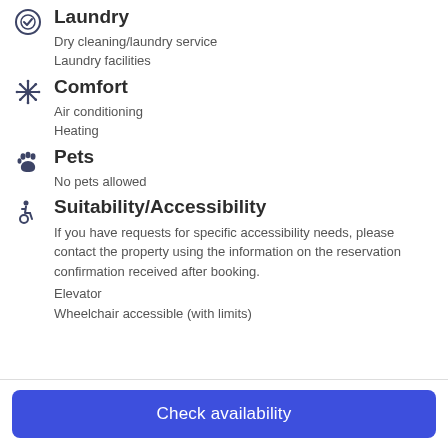Laundry
Dry cleaning/laundry service
Laundry facilities
Comfort
Air conditioning
Heating
Pets
No pets allowed
Suitability/Accessibility
If you have requests for specific accessibility needs, please contact the property using the information on the reservation confirmation received after booking.
Elevator
Wheelchair accessible (with limits)
Check availability